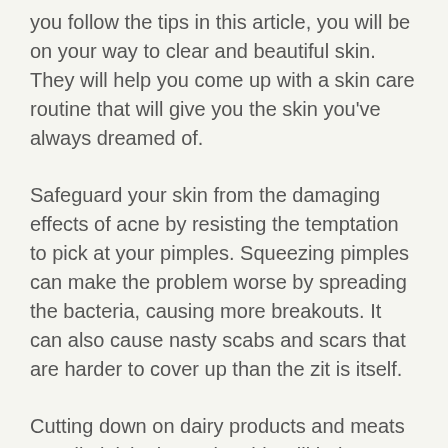you follow the tips in this article, you will be on your way to clear and beautiful skin. They will help you come up with a skin care routine that will give you the skin you've always dreamed of.
Safeguard your skin from the damaging effects of acne by resisting the temptation to pick at your pimples. Squeezing pimples can make the problem worse by spreading the bacteria, causing more breakouts. It can also cause nasty scabs and scars that are harder to cover up than the zit is itself.
Cutting down on dairy products and meats can diminish zits. Doing this will help you because dairy and meat products can contain harmful